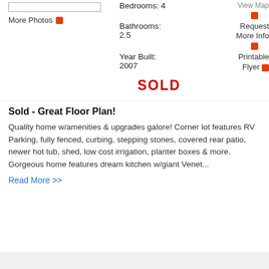[Figure (photo): Photo placeholder box (top of listing)]
More Photos
Bedrooms: 4
Bathrooms: 2.5
Request More Info
Year Built: 2007
Printable Flyer
SOLD
Sold - Great Floor Plan!
Quality home w/amenities & upgrades galore! Corner lot features RV Parking, fully fenced, curbing, stepping stones, covered rear patio, newer hot tub, shed, low cost irrigation, planter boxes & more. Gorgeous home features dream kitchen w/giant Venet...
Read More >>